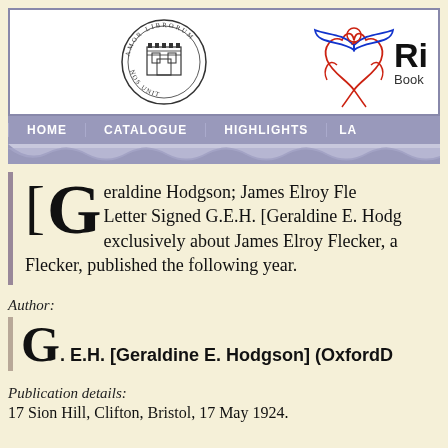[Figure (logo): Circular seal/logo with text 'AMOR LIBRORUM NOS UNIT' and a building/gate illustration in center]
[Figure (logo): Phoenix bird logo in blue and red flames]
Ri
Book
HOME   CATALOGUE   HIGHLIGHTS   LA
[Geraldine Hodgson; James Elroy Fle... Letter Signed G.E.H. [Geraldine E. Hodg... exclusively about James Elroy Flecker, a... Flecker, published the following year.
Author:
G. E.H. [Geraldine E. Hodgson] (OxfordD
Publication details:
17 Sion Hill, Clifton, Bristol, 17 May 1924.